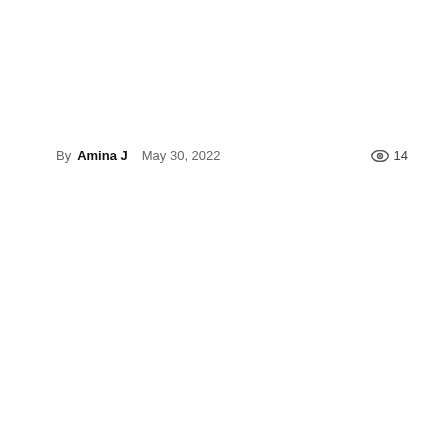By Amina J   May 30, 2022   👁 14